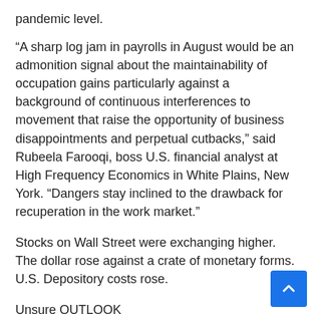pandemic level.
“A sharp log jam in payrolls in August would be an admonition signal about the maintainability of occupation gains particularly against a background of continuous interferences to movement that raise the opportunity of business disappointments and perpetual cutbacks,” said Rubeela Farooqi, boss U.S. financial analyst at High Frequency Economics in White Plains, New York. “Dangers stay inclined to the drawback for recuperation in the work market.”
Stocks on Wall Street were exchanging higher. The dollar rose against a crate of monetary forms. U.S. Depository costs rose.
Unsure OUTLOOK
The control in work development recommended by the ADP report is in accordance with other work market pointers. Week after week new applications for joblessness benefits